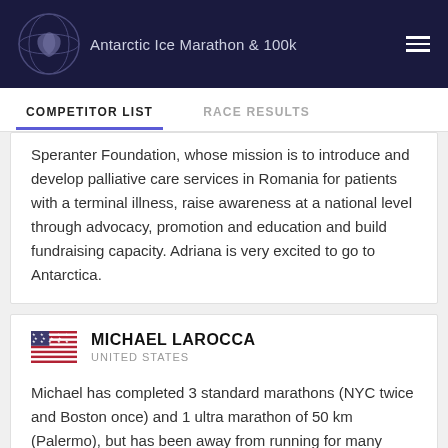Antarctic Ice Marathon & 100k
COMPETITOR LIST
RACE RESULTS
Speranter Foundation, whose mission is to introduce and develop palliative care services in Romania for patients with a terminal illness, raise awareness at a national level through advocacy, promotion and education and build fundraising capacity. Adriana is very excited to go to Antarctica.
MICHAEL LAROCCA
UNITED STATES
Michael has completed 3 standard marathons (NYC twice and Boston once) and 1 ultra marathon of 50 km (Palermo), but has been away from running for many years. He's running the half marathon in Antarctica as a way to spark